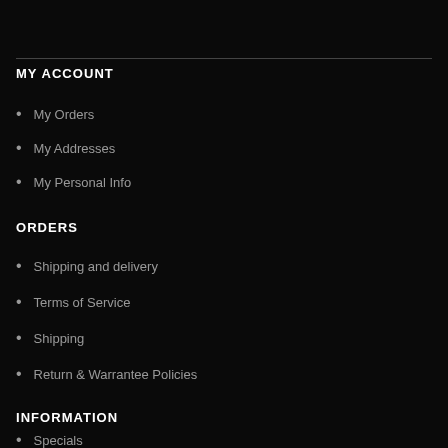MY ACCOUNT
My Orders
My Addresses
My Personal Info
ORDERS
Shipping and delivery
Terms of Service
Shipping
Return & Warrantee Policies
INFORMATION
Specials